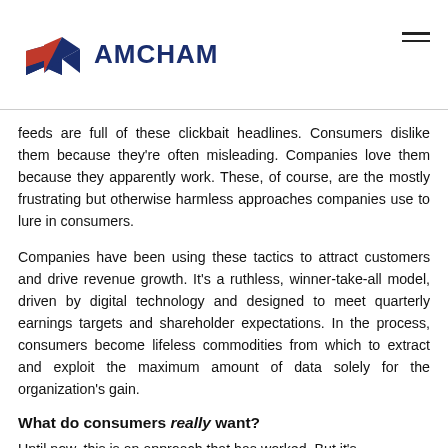AMCHAM
feeds are full of these clickbait headlines. Consumers dislike them because they're often misleading. Companies love them because they apparently work. These, of course, are the mostly frustrating but otherwise harmless approaches companies use to lure in consumers.
Companies have been using these tactics to attract customers and drive revenue growth. It's a ruthless, winner-take-all model, driven by digital technology and designed to meet quarterly earnings targets and shareholder expectations. In the process, consumers become lifeless commodities from which to extract and exploit the maximum amount of data solely for the organization's gain.
What do consumers really want?
Until now, this is an approach that has worked. But it's